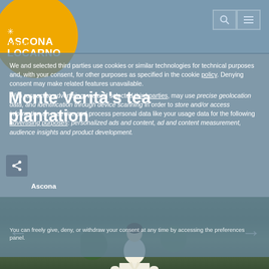ASCONA LOCARNO
Notice
We and selected third parties use cookies or similar technologies for technical purposes and, with your consent, for other purposes as specified in the cookie policy. Denying consent may make related features unavailable. With respect to advertising, we and selected third parties, may use precise geolocation data, and identification through device scanning in order to store and/or access information on a device and process personal data like your usage data for the following advertising purposes: personalized ads and content, ad and content measurement, audience insights and product development.
Monte Verità's tea plantation
Ascona
[Figure (photo): Woman in traditional Japanese kimono standing in a green tea plantation garden]
You can freely give, deny, or withdraw your consent at any time by accessing the preferences panel.